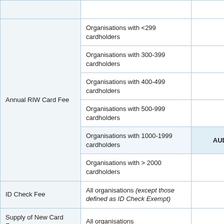| Fee Type | Applicable To | Amount |
| --- | --- | --- |
| Annual RIW Card Fee | Organisations with <299 cardholders | AUD $ 130.00 |
|  | Organisations with 300-399 cardholders | AUD $ 120.00 |
|  | Organisations with 400-499 cardholders | AUD $ 100.00 |
|  | Organisations with 500-999 cardholders | AUD $ 75.00 |
|  | Organisations with 1000-1999 cardholders | AUD $ 50.00 |
|  | Organisations with > 2000 cardholders | AUD $ 40.00 |
| ID Check Fee | All organisations (except those defined as ID Check Exempt) | AUD $ 15.00 |
| Supply of New Card Fee | All organisations | AUD $ 55.00 |
| Supply of |  |  |